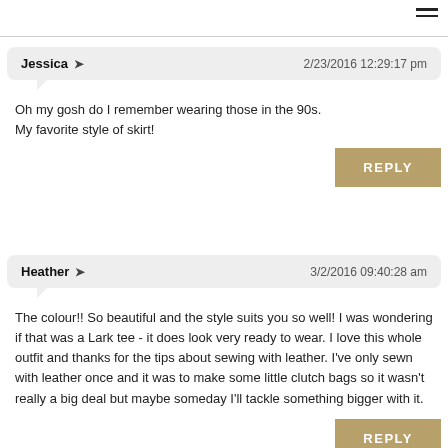Jessica ➤ 2/23/2016 12:29:17 pm
Oh my gosh do I remember wearing those in the 90s. My favorite style of skirt!
REPLY
Heather ➤ 3/2/2016 09:40:28 am
The colour!! So beautiful and the style suits you so well! I was wondering if that was a Lark tee - it does look very ready to wear. I love this whole outfit and thanks for the tips about sewing with leather. I've only sewn with leather once and it was to make some little clutch bags so it wasn't really a big deal but maybe someday I'll tackle something bigger with it.
REPLY